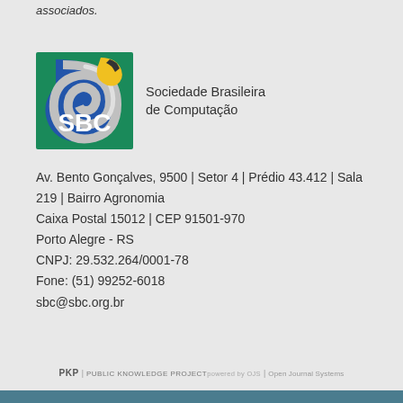associados.
[Figure (logo): SBC - Sociedade Brasileira de Computação logo with green square background, blue arc shape, and gold/white swirl]
Sociedade Brasileira
de Computação
Av. Bento Gonçalves, 9500 | Setor 4 | Prédio 43.412 | Sala 219 | Bairro Agronomia
Caixa Postal 15012 | CEP 91501-970
Porto Alegre - RS
CNPJ: 29.532.264/0001-78
Fone: (51) 99252-6018
sbc@sbc.org.br
PKP | PUBLIC KNOWLEDGE PROJECT powered by OJS | Open Journal Systems